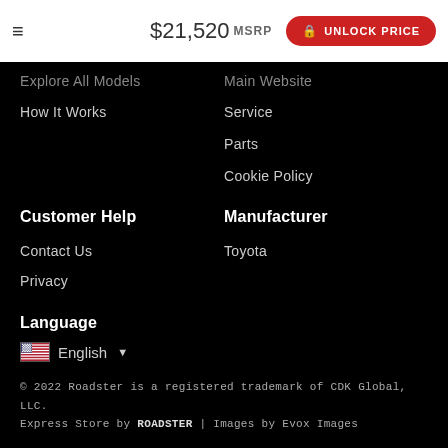$21,520 MSRP  UNLOCK PRICE
Explore All Models
How It Works
Main Website
Service
Parts
Cookie Policy
Customer Help
Contact Us
Privacy
Manufacturer
Toyota
Language
English
© 2022 Roadster is a registered trademark of CDK Global, LLC. Express Store by ROADSTER  |  Images by Evox Images